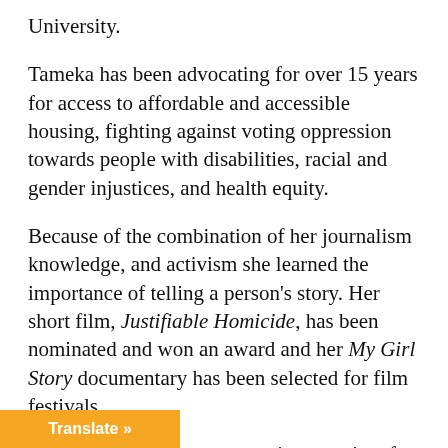University.
Tameka has been advocating for over 15 years for access to affordable and accessible housing, fighting against voting oppression towards people with disabilities, racial and gender injustices, and health equity.
Because of the combination of her journalism knowledge, and activism she learned the importance of telling a person's story. Her short film, Justifiable Homicide, has been nominated and won an award and her My Girl Story documentary has been selected for film festivals.
Besides film, she's a community organizer for Warriors on Wheels of Metro Detroit. A [member of] Michigan Disability Rights